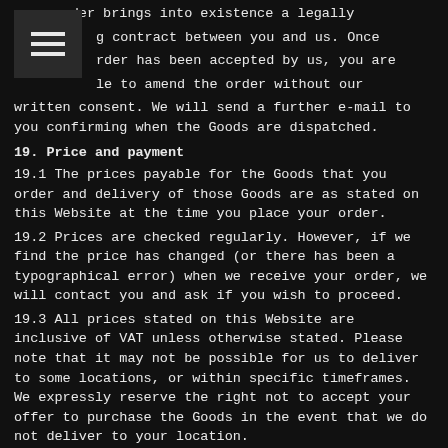your order brings into existence a legally binding contract between you and us. Once your order has been accepted by us, you are not able to amend the order without our written consent. We will send a further e-mail to you confirming when the Goods are dispatched.
19. Price and payment
19.1 The prices payable for the Goods that you order and delivery of those Goods are as stated on this Website at the time you place your order.
19.2 Prices are checked regularly. However, if we find the price has changed (or there has been a typographical error) when we receive your order, we will contact you and ask if you wish to proceed.
19.3 All prices stated on this Website are inclusive of VAT unless otherwise stated. Please note that it may not be possible for us to deliver to some locations, or within specific timeframes. We expressly reserve the right not to accept your offer to purchase the Goods in the event that we do not deliver to your location.
19.4 Payment may be made by the methods stated on this Website. The debit, credit and charge cards accepted by us are those listed